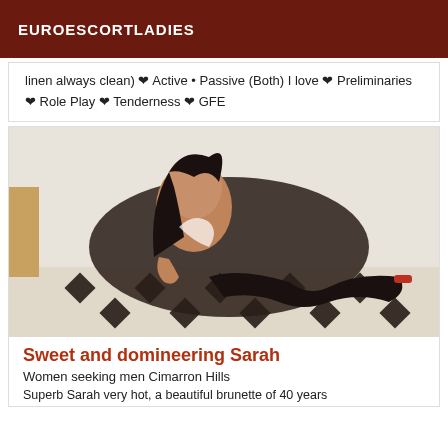EUROESCORTLADIES
linen always clean) ❤ Active • Passive (Both) I love ❤ Preliminaries ❤ Role Play ❤ Tenderness ❤ GFE
[Figure (photo): Woman dressed in a maid costume posing on a tiled floor]
Sweet and domineering Sarah
Women seeking men Cimarron Hills
Superb Sarah very hot, a beautiful brunette of 40 years